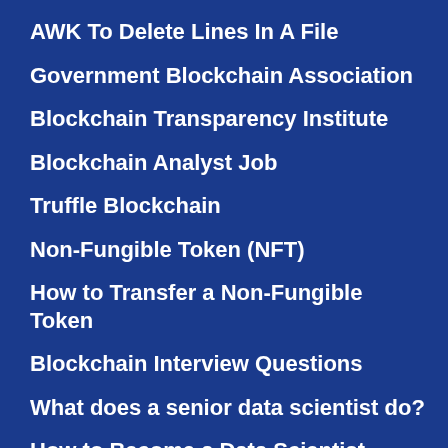AWK To Delete Lines In A File
Government Blockchain Association
Blockchain Transparency Institute
Blockchain Analyst Job
Truffle Blockchain
Non-Fungible Token (NFT)
How to Transfer a Non-Fungible Token
Blockchain Interview Questions
What does a senior data scientist do?
How to Become a Data Scientist
How long does it take to become a senior data scientist?
Data Scientist vs Data Engineer
Proxmox Cluster - Basic Setup
Proxmox PI Zero 2 W…